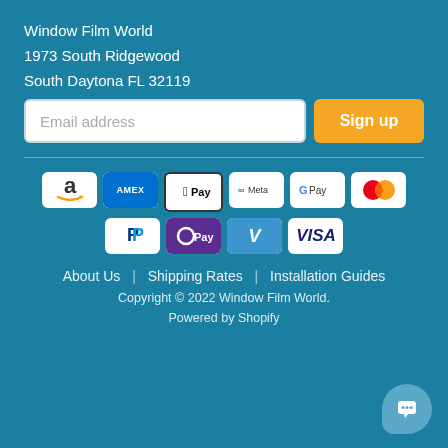Window Film World
1973 South Ridgewood
South Daytona FL 32119
[Figure (screenshot): Email address input field with Sign up button]
[Figure (infographic): Payment method icons: Amazon, Amex, Apple Pay, Meta Pay, Google Pay, Mastercard, PayPal, OPay, Venmo, Visa]
About Us | Shipping Rates | Installation Guides
Copyright © 2022 Window Film World.
Powered by Shopify